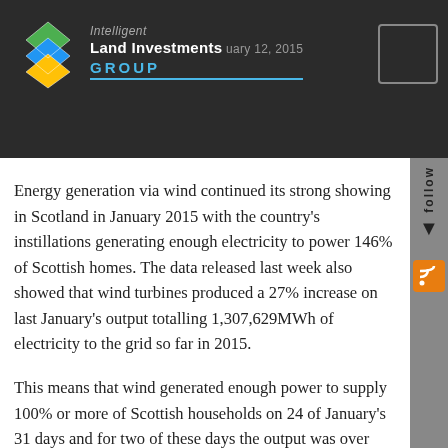Intelligent Land Investments GROUP — February 12, 2015
Energy generation via wind continued its strong showing in Scotland in January 2015 with the country's instillations generating enough electricity to power 146% of Scottish homes. The data released last week also showed that wind turbines produced a 27% increase on last January's output totalling 1,307,629MWh of electricity to the grid so far in 2015.
This means that wind generated enough power to supply 100% or more of Scottish households on 24 of January's 31 days and for two of these days the output was over 200% of our domestic electricity needs. Maximum output of 206% (60,800MWh approx).